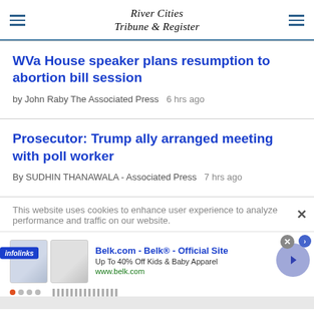River Cities Tribune & Register
WVa House speaker plans resumption to abortion bill session
by John Raby The Associated Press   6 hrs ago
Prosecutor: Trump ally arranged meeting with poll worker
By SUDHIN THANAWALA - Associated Press   7 hrs ago
This website uses cookies to enhance user experience to analyze performance and traffic on our website.
[Figure (screenshot): Infolinks advertisement banner for Belk.com showing kids clothing images with text 'Belk.com - Belk® - Official Site', 'Up To 40% Off Kids & Baby Apparel', 'www.belk.com']